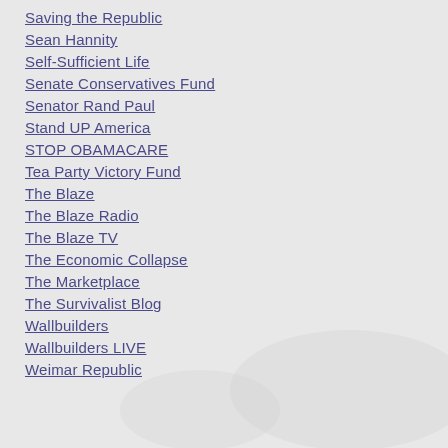[Figure (photo): Faded background image of a person in a formal or governmental setting, low opacity watermark-style]
Saving the Republic
Sean Hannity
Self-Sufficient Life
Senate Conservatives Fund
Senator Rand Paul
Stand UP America
STOP OBAMACARE
Tea Party Victory Fund
The Blaze
The Blaze Radio
The Blaze TV
The Economic Collapse
The Marketplace
The Survivalist Blog
Wallbuilders
Wallbuilders LIVE
Weimar Republic